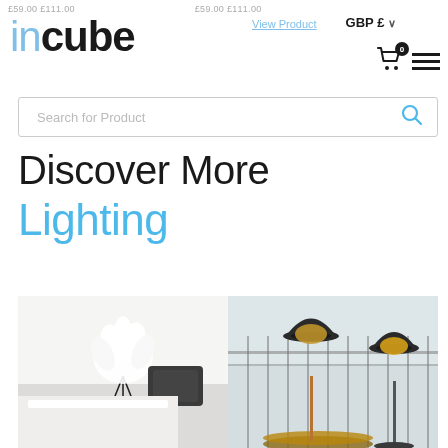£59.00 £111.00   £59.00 £111.00
[Figure (logo): incube logo with 'in' in light blue and 'cube' in bold black]
View Product
GBP £
[Figure (other): Shopping cart icon with 0 badge and hamburger menu icon]
Search for Product
Discover More
Lighting
[Figure (photo): Two product photos side by side: left shows a white feathery lamp on tripod legs on a dark table in a white room; right shows two bowler hat-shaped black and gold pendant/table lamps on a terrace]